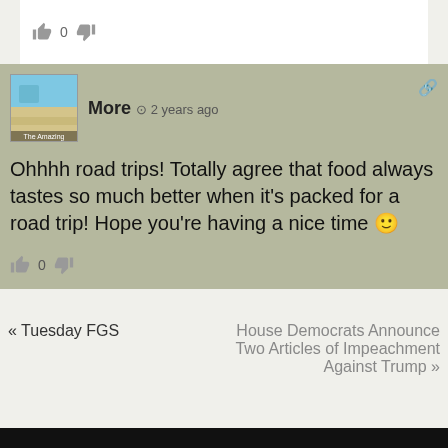0
[Figure (photo): User avatar thumbnail showing a beach/sand dune scene with sky, labeled 'The Amazing']
More  2 years ago
Ohhhh road trips! Totally agree that food always tastes so much better when it's packed for a road trip! Hope you're having a nice time 🙂
0
« Tuesday FGS
House Democrats Announce Two Articles of Impeachment Against Trump »